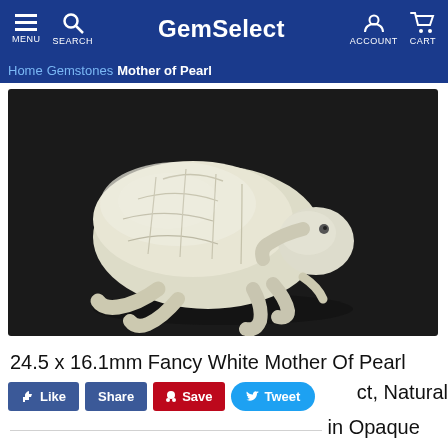MENU  SEARCH  GemSelect  ACCOUNT  CART
Home > Gemstones > Mother of Pearl
[Figure (photo): A carved white Mother of Pearl gemstone shaped like a turtle/tortoise, photographed against a dark background. The carving shows detailed shell patterns and the turtle's head and legs.]
24.5 x 16.1mm Fancy White Mother Of Pearl
ct, Natural
in Opaque